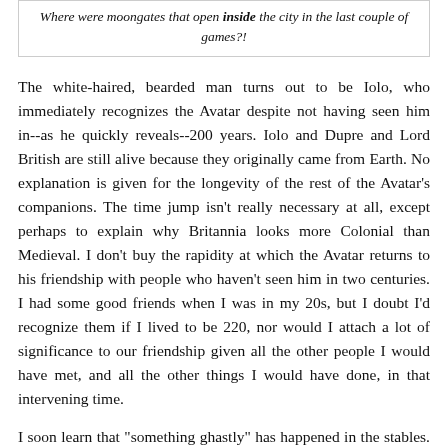Where were moongates that open inside the city in the last couple of games?!
The white-haired, bearded man turns out to be Iolo, who immediately recognizes the Avatar despite not having seen him in--as he quickly reveals--200 years. Iolo and Dupre and Lord British are still alive because they originally came from Earth. No explanation is given for the longevity of the rest of the Avatar's companions. The time jump isn't really necessary at all, except perhaps to explain why Britannia looks more Colonial than Medieval. I don't buy the rapidity at which the Avatar returns to his friendship with people who haven't seen him in two centuries. I had some good friends when I was in my 20s, but I doubt I'd recognize them if I lived to be 220, nor would I attach a lot of significance to our friendship given all the other people I would have met, and all the other things I would have done, in that intervening time.
I soon learn that "something ghastly" has happened in the stables. The other person is introduced as a stablehand